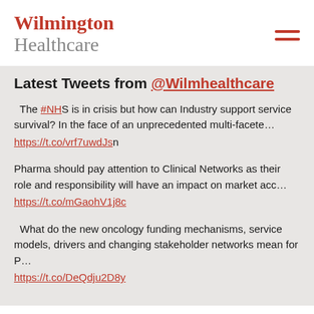Wilmington Healthcare
Latest Tweets from @Wilmhealthcare
The #NHS is in crisis but how can Industry support service survival? In the face of an unprecedented multi-facete… https://t.co/vrf7uwdJsn
Pharma should pay attention to Clinical Networks as their role and responsibility will have an impact on market acc… https://t.co/mGaohV1j8c
What do the new oncology funding mechanisms, service models, drivers and changing stakeholder networks mean for P… https://t.co/DeQdju2D8y